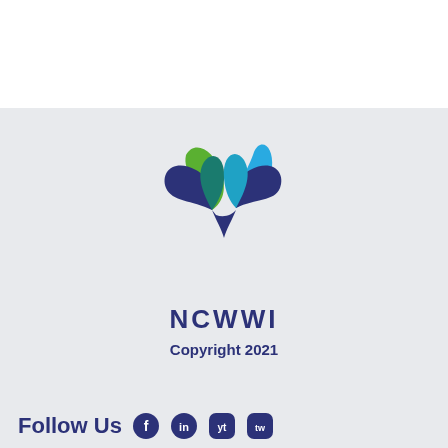[Figure (logo): NCWWI logo with stylized leaf/water droplet shapes in green and blue, with the text NCWWI below]
Copyright 2021
Follow Us